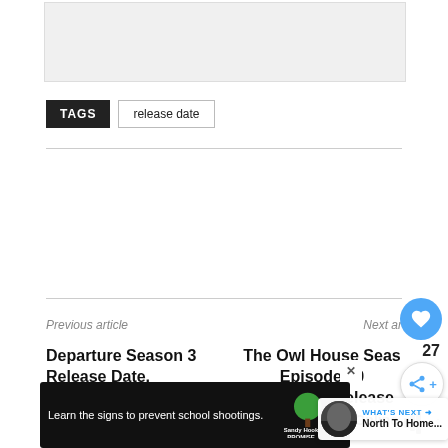[Figure (other): Top content area placeholder image]
TAGS   release date
Previous article
Next article
Departure Season 3 Release Date, Countdown, Trailer, Where to stream?
The Owl House Season Episode 10 Countdown Release Date, Stream Online
[Figure (other): Share and heart UI overlay buttons with count 27]
[Figure (screenshot): WHAT'S NEXT North To Home... thumbnail overlay]
[Figure (screenshot): Advertisement banner: Learn the signs to prevent school shootings. Sandy Hook Promise]